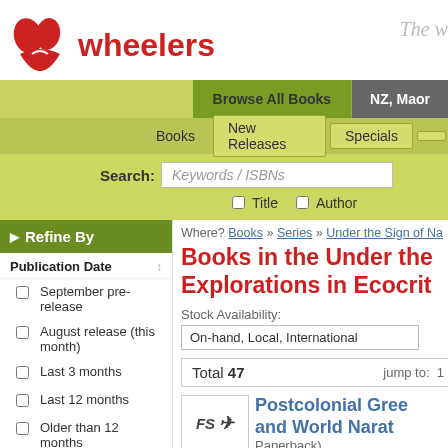[Figure (logo): Wheelers bookstore logo with red flower/book icon and red text 'wheelers']
The w
Browse All Books
NZ, Maor
Books | New Releases | Specials
Search: Keywords / ISBNs
Title  Author
Refine By
Publication Date
September pre-release
August release (this month)
Last 3 months
Last 12 months
Older than 12 months
Fiction / Non-Fiction
Where? Books » Series » Under the Sign of Na
Books in the Under the Explorations in Ecocrit
Stock Availability:
On-hand, Local, International
Total 47  jump to: 1
Postcolonial Gree and World Narat
Paperback)